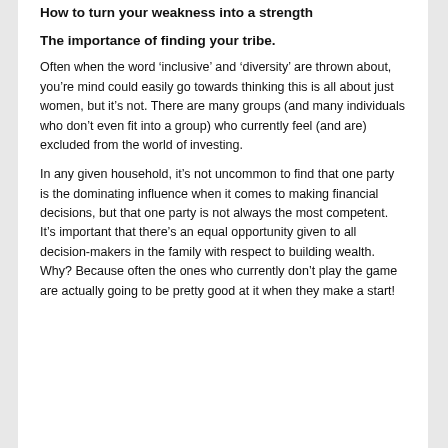How to turn your weakness into a strength
The importance of finding your tribe.
Often when the word ‘inclusive’ and ‘diversity’ are thrown about, you’re mind could easily go towards thinking this is all about just women, but it’s not. There are many groups (and many individuals who don’t even fit into a group) who currently feel (and are) excluded from the world of investing.
In any given household, it’s not uncommon to find that one party is the dominating influence when it comes to making financial decisions, but that one party is not always the most competent. It’s important that there’s an equal opportunity given to all decision-makers in the family with respect to building wealth. Why? Because often the ones who currently don’t play the game are actually going to be pretty good at it when they make a start!